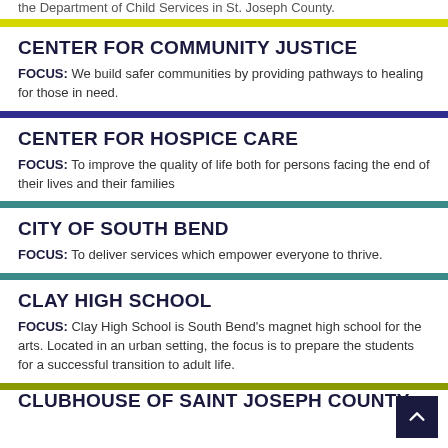the Department of Child Services in St. Joseph County.
CENTER FOR COMMUNITY JUSTICE
FOCUS: We build safer communities by providing pathways to healing for those in need.
CENTER FOR HOSPICE CARE
FOCUS: To improve the quality of life both for persons facing the end of their lives and their families
CITY OF SOUTH BEND
FOCUS: To deliver services which empower everyone to thrive.
CLAY HIGH SCHOOL
FOCUS: Clay High School is South Bend's magnet high school for the arts. Located in an urban setting, the focus is to prepare the students for a successful transition to adult life.
CLUBHOUSE OF SAINT JOSEPH COUNTY